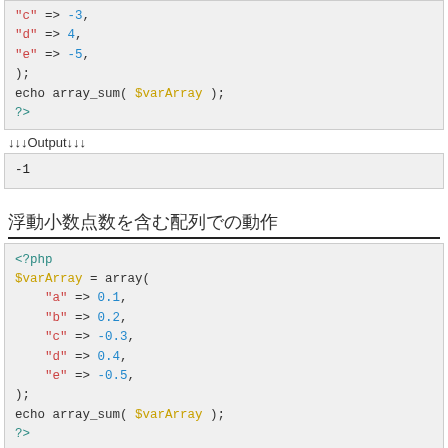<?php
$varArray = array(
    "c" => -3,
    "d" => 4,
    "e" => -5,
);
echo array_sum( $varArray );
?>
↓↓↓Output↓↓↓
-1
浮動小数点数を含む配列での動作
<?php
$varArray = array(
    "a" => 0.1,
    "b" => 0.2,
    "c" => -0.3,
    "d" => 0.4,
    "e" => -0.5,
);
echo array_sum( $varArray );
?>